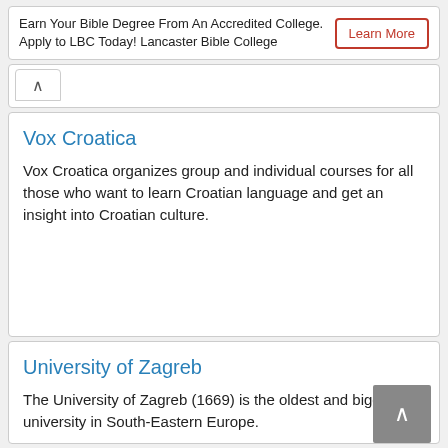Earn Your Bible Degree From An Accredited College. Apply to LBC Today! Lancaster Bible College
[Figure (screenshot): Collapsed section UI element with upward chevron arrow button]
Vox Croatica
Vox Croatica organizes group and individual courses for all those who want to learn Croatian language and get an insight into Croatian culture.
University of Zagreb
The University of Zagreb (1669) is the oldest and biggest university in South-Eastern Europe.